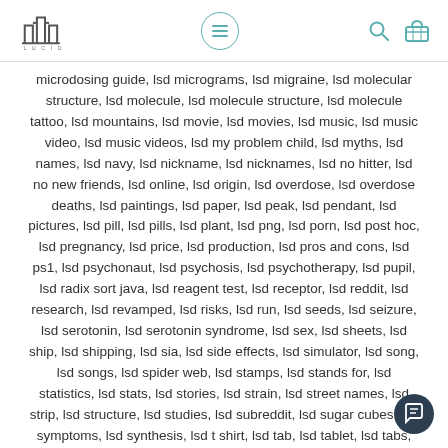LUCID logo, menu button, search icon, cart icon
microdosing guide, lsd micrograms, lsd migraine, lsd molecular structure, lsd molecule, lsd molecule structure, lsd molecule tattoo, lsd mountains, lsd movie, lsd movies, lsd music, lsd music video, lsd music videos, lsd my problem child, lsd myths, lsd names, lsd navy, lsd nickname, lsd nicknames, lsd no hitter, lsd no new friends, lsd online, lsd origin, lsd overdose, lsd overdose deaths, lsd paintings, lsd paper, lsd peak, lsd pendant, lsd pictures, lsd pill, lsd pills, lsd plant, lsd png, lsd porn, lsd post hoc, lsd pregnancy, lsd price, lsd production, lsd pros and cons, lsd ps1, lsd psychonaut, lsd psychosis, lsd psychotherapy, lsd pupil, lsd radix sort java, lsd reagent test, lsd receptor, lsd reddit, lsd research, lsd revamped, lsd risks, lsd run, lsd seeds, lsd seizure, lsd serotonin, lsd serotonin syndrome, lsd sex, lsd sheets, lsd ship, lsd shipping, lsd sia, lsd side effects, lsd simulator, lsd song, lsd songs, lsd spider web, lsd stamps, lsd stands for, lsd statistics, lsd stats, lsd stories, lsd strain, lsd street names, lsd strip, lsd structure, lsd studies, lsd subreddit, lsd sugar cubes, lsd symptoms, lsd synthesis, lsd t shirt, lsd tab, lsd tablet, lsd tabs, lsd tattoo, lsd tattoos, lsd test, lsd test kit, lsd test kit amazon, lsd test kits, lsd